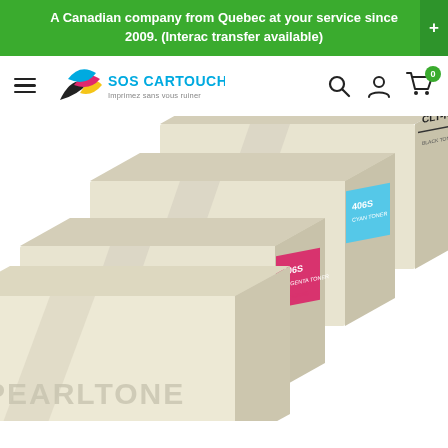A Canadian company from Quebec at your service since 2009. (Interac transfer available)
[Figure (logo): SOS Cartouches logo with colorful leaf icon and text 'Imprimez sans vous ruiner']
[Figure (photo): Four Pearltone toner cartridge boxes (CLT-K406S black, CLT-C406S cyan, CLT-M406S magenta, CLT-Y406S yellow) stacked in a cascading arrangement]